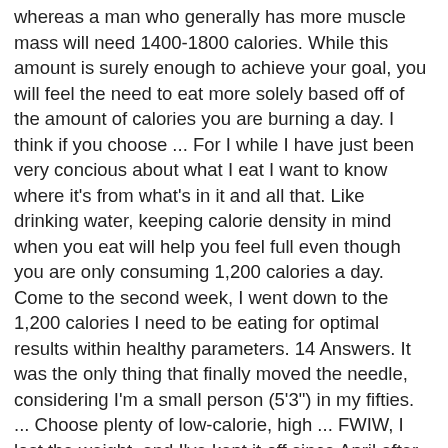whereas a man who generally has more muscle mass will need 1400-1800 calories. While this amount is surely enough to achieve your goal, you will feel the need to eat more solely based off of the amount of calories you are burning a day. I think if you choose ... For I while I have just been very concious about what I eat I want to know where it's from what's in it and all that. Like drinking water, keeping calorie density in mind when you eat will help you feel full even though you are only consuming 1,200 calories a day. Come to the second week, I went down to the 1,200 calories I need to be eating for optimal results within healthy parameters. 14 Answers. It was the only thing that finally moved the needle, considering I'm a small person (5'3") in my fifties. ... Choose plenty of low-calorie, high ... FWIW, I lost the weight, and I've kept it off since April after returning to a normal ... Choosing a variety of healthy options with a 1200-calorie budget and curbing your binging by including protein snacks are key to stay fit and healthy. Sticking to everyday foods makes it easier to improvise, and the simplicity could be just what you need to stay dedicated. For those